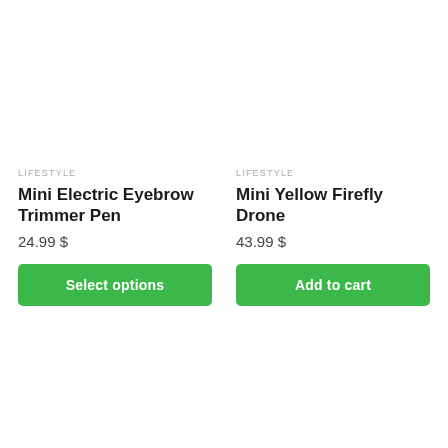LIFESTYLE
Mini Electric Eyebrow Trimmer Pen
24.99 $
Select options
LIFESTYLE
Mini Yellow Firefly Drone
43.99 $
Add to cart